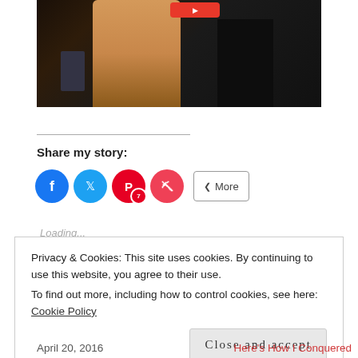[Figure (photo): Cropped photo showing two people at an event, partially visible, dark background with warm-toned clothing on one figure]
Share my story:
Social share buttons: Facebook, Twitter, Pinterest (7), Pocket, More
Loading...
Privacy & Cookies: This site uses cookies. By continuing to use this website, you agree to their use.
To find out more, including how to control cookies, see here: Cookie Policy
Close and accept
April 20, 2016      Here's How I Conquered